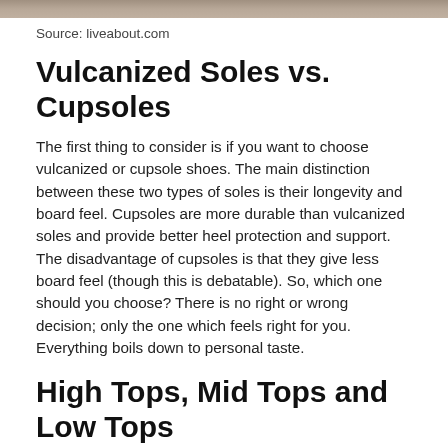[Figure (photo): Partial view of a photo at the top of the page, cropped — appears to show shoes or skateboarding related imagery]
Source: liveabout.com
Vulcanized Soles vs. Cupsoles
The first thing to consider is if you want to choose vulcanized or cupsole shoes. The main distinction between these two types of soles is their longevity and board feel. Cupsoles are more durable than vulcanized soles and provide better heel protection and support. The disadvantage of cupsoles is that they give less board feel (though this is debatable). So, which one should you choose? There is no right or wrong decision; only the one which feels right for you. Everything boils down to personal taste.
High Tops, Mid Tops and Low Tops
What's the distinction? Ankle protection and mobility freedom. You'll need them if you get a bunch of anklers